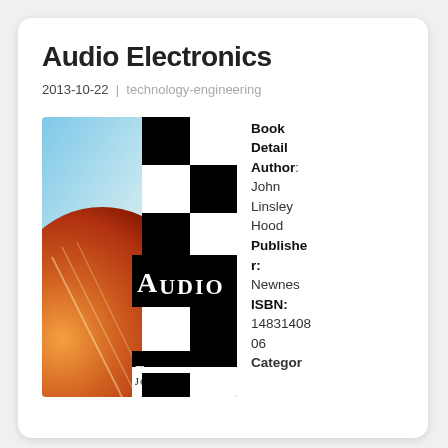Audio Electronics
2013-10-22 | technology-engineering
[Figure (photo): Book cover of 'Audio Electronics' by John Linsley Hood, featuring a checkerboard black-and-white pattern with text 'AUDIO ELECTRONICS' and 'JOHN LINSLEY HOOD', alongside an artistic illustration of an orange/cosmic background.]
Book Detail Author: John Linsley Hood Publisher: Newnes ISBN: 1483140806 Category: